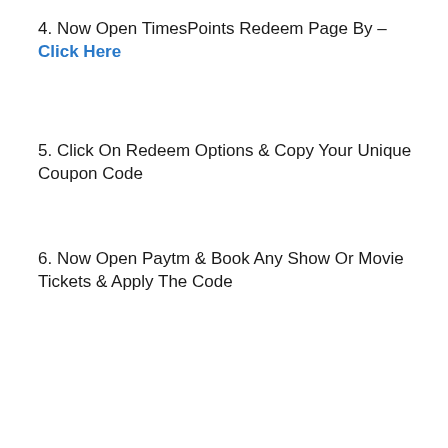4. Now Open TimesPoints Redeem Page By – Click Here
5. Click On Redeem Options & Copy Your Unique Coupon Code
6. Now Open Paytm & Book Any Show Or Movie Tickets & Apply The Code